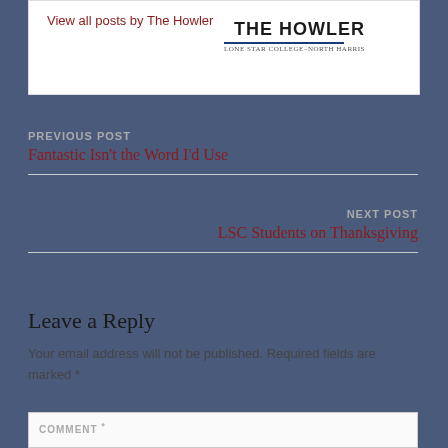View all posts by The Howler
[Figure (logo): The Howler logo with bold text and subtitle line]
PREVIOUS POST
Fantastic Isn't the Word I'd Use
NEXT POST
LSC Students on Thanksgiving
Leave a Reply
Your email address will not be published. Required fields are marked *
COMMENT *